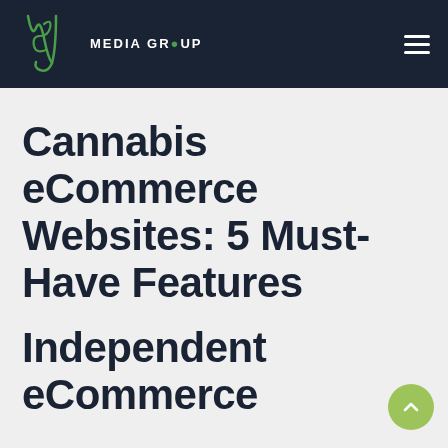WJS Media Group
Cannabis eCommerce Websites: 5 Must-Have Features
Independent eCommerce